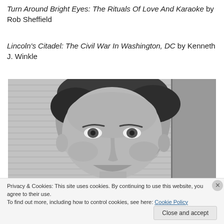Turn Around Bright Eyes: The Rituals Of Love And Karaoke by Rob Sheffield
Lincoln's Citadel: The Civil War In Washington, DC by Kenneth J. Winkle
[Figure (photo): Black and white close-up photograph of a young man's face looking slightly downward, with short dark hair, against a light background with horizontal lines.]
Privacy & Cookies: This site uses cookies. By continuing to use this website, you agree to their use.
To find out more, including how to control cookies, see here: Cookie Policy
Close and accept